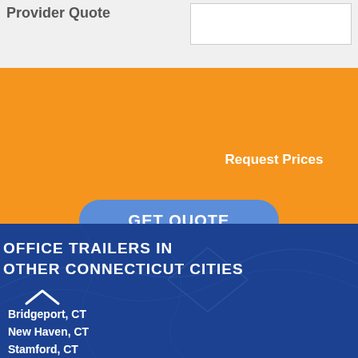Provider Quote
Request Prices
GET QUOTE
OFFICE TRAILERS IN OTHER CONNECTICUT CITIES
Bridgeport, CT
New Haven, CT
Stamford, CT
Hartford, CT
Waterbury, CT